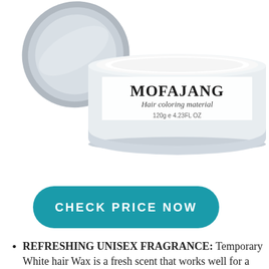[Figure (photo): An open white tin container of Mofajang Hair coloring material, 120g / 4.23FL OZ, with the lid tilted against it, showing the white hair wax product inside.]
CHECK PRICE NOW
REFRESHING UNISEX FRAGRANCE: Temporary White hair Wax is a fresh scent that works well for a man or